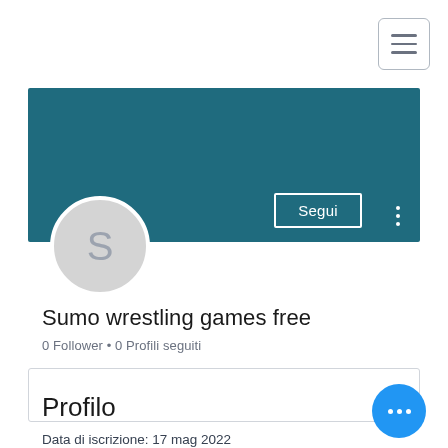[Figure (screenshot): Hamburger menu button (three horizontal lines) in top right corner, with rounded rectangle border]
[Figure (screenshot): Teal/dark blue profile banner header background]
[Figure (screenshot): Grey circular avatar with letter S, overlapping the bottom of the banner]
Segui
Sumo wrestling games free
0 Follower • 0 Profili seguiti
[Figure (screenshot): Dropdown selector box with chevron on right]
Profilo
Data di iscrizione: 17 mag 2022
[Figure (screenshot): Blue circular FAB button with three white dots (ellipsis)]